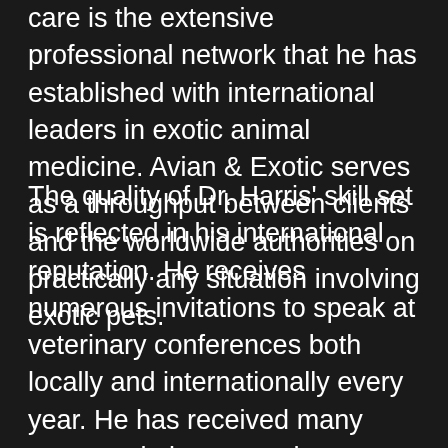care is the extensive professional network that he has established with international leaders in exotic animal medicine. Avian & Exotic serves as a throughput between clients and the worldwide authorities on practically any situation involving exotic pets.
The quality of Dr. Harris' skill set is reflected in his international reputation. He receives numerous invitations to speak at veterinary conferences both locally and internationally every year. He has received many commendations over the years from various institutions and associations. He served as president of the South Florida Veterinary Medical Association, president of the worldwide Association of Avian Veterinarians, and president of the North American Veterinary Conference, the largest veterinary conference in the world. Additionally, his clinical experiences have been featured on major television networks including